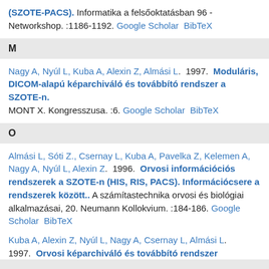(SZOTE-PACS). Informatika a felsőoktatásban 96 - Networkshop. :1186-1192. Google Scholar BibTeX
M
Nagy A, Nyúl L, Kuba A, Alexin Z, Almási L.  1997.  Moduláris, DICOM-alapú képarchiváló és továbbító rendszer a SZOTE-n. MONT X. Kongresszusa. :6. Google Scholar BibTeX
O
Almási L, Sóti Z., Csernay L, Kuba A, Pavelka Z, Kelemen A, Nagy A, Nyúl L, Alexin Z.  1996.  Orvosi információs rendszerek a SZOTE-n (HIS, RIS, PACS). Információcsere a rendszerek között.. A számítastechnika orvosi és biológiai alkalmazásai, 20. Neumann Kollokvium. :184-186. Google Scholar BibTeX
Kuba A, Alexin Z, Nyúl L, Nagy A, Csernay L, Almási L.  1997.  Orvosi képarchiváló és továbbító rendszer szoftvere. Magyar Képfeldolgozók és Alakfelismerők Országos Konferenciája. :189-193. Google Scholar BibTeX